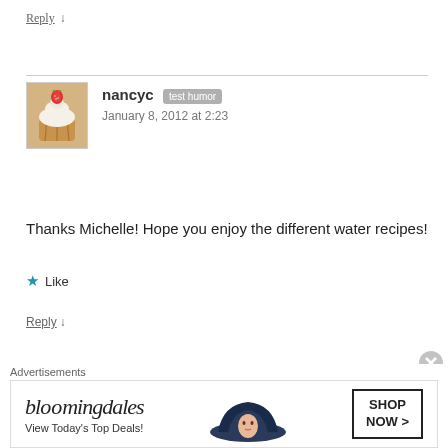Reply ↓
nancyc [test humor] January 8, 2012 at 2:23
Thanks Michelle! Hope you enjoy the different water recipes!
★ Like
Reply ↓
Pingback: 72 Healthy Recipes to Jumpstart 2012
Advertisements bloomingdales View Today's Top Deals! SHOP NOW >